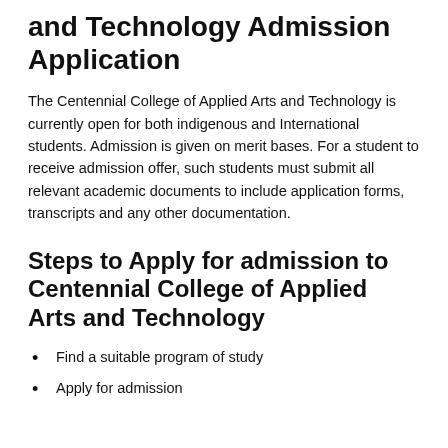and Technology Admission Application
The Centennial College of Applied Arts and Technology is currently open for both indigenous and International students. Admission is given on merit bases. For a student to receive admission offer, such students must submit all relevant academic documents to include application forms, transcripts and any other documentation.
Steps to Apply for admission to Centennial College of Applied Arts and Technology
Find a suitable program of study
Apply for admission